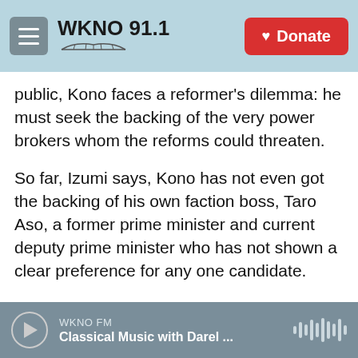WKNO 91.1 | Donate
public, Kono faces a reformer's dilemma: he must seek the backing of the very power brokers whom the reforms could threaten.
So far, Izumi says, Kono has not even got the backing of his own faction boss, Taro Aso, a former prime minister and current deputy prime minister who has not shown a clear preference for any one candidate.
What concerns the party leaders is the possibility that Kono will try to dismantle their vested economic interests, Izumi says.
WKNO FM | Classical Music with Darel ...